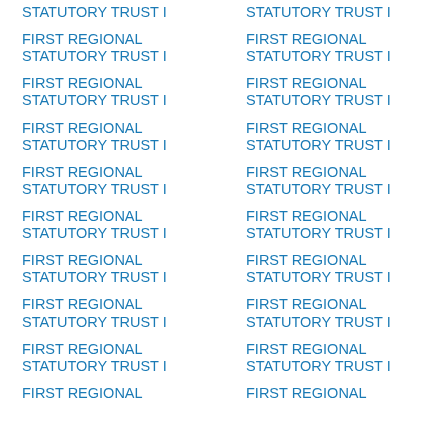STATUTORY TRUST I
FIRST REGIONAL STATUTORY TRUST I
FIRST REGIONAL STATUTORY TRUST I
FIRST REGIONAL STATUTORY TRUST I
FIRST REGIONAL STATUTORY TRUST I
FIRST REGIONAL STATUTORY TRUST I
FIRST REGIONAL STATUTORY TRUST I
FIRST REGIONAL STATUTORY TRUST I
FIRST REGIONAL STATUTORY TRUST I
FIRST REGIONAL
STATUTORY TRUST I
FIRST REGIONAL STATUTORY TRUST I
FIRST REGIONAL STATUTORY TRUST I
FIRST REGIONAL STATUTORY TRUST I
FIRST REGIONAL STATUTORY TRUST I
FIRST REGIONAL STATUTORY TRUST I
FIRST REGIONAL STATUTORY TRUST I
FIRST REGIONAL STATUTORY TRUST I
FIRST REGIONAL STATUTORY TRUST I
FIRST REGIONAL